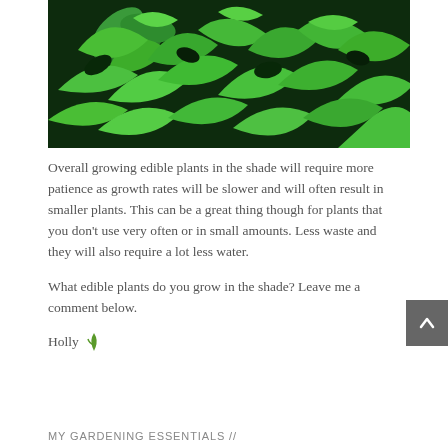[Figure (photo): Close-up photograph of lush green herb/parsley leaves]
Overall growing edible plants in the shade will require more patience as growth rates will be slower and will often result in smaller plants. This can be a great thing though for plants that you don't use very often or in small amounts. Less waste and they will also require a lot less water.
What edible plants do you grow in the shade? Leave me a comment below.
Holly
MY GARDENING ESSENTIALS //